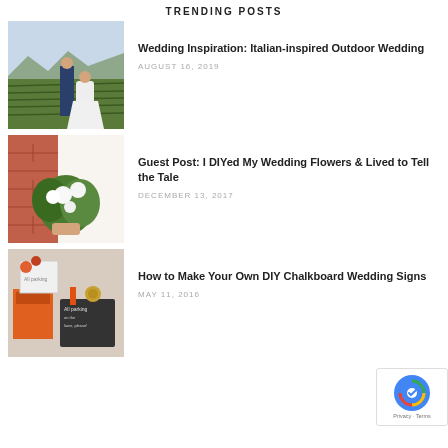TRENDING POSTS
[Figure (photo): Couple standing in a vineyard, man in blue suit, woman in white dress]
Wedding Inspiration: Italian-inspired Outdoor Wedding
AUGUST 16, 2019
[Figure (photo): Bride holding white and green flower bouquet against brick wall]
Guest Post: I DIYed My Wedding Flowers & Lived to Tell the Tale
DECEMBER 13, 2017
[Figure (photo): DIY chalkboard wedding signs and orange items]
How to Make Your Own DIY Chalkboard Wedding Signs
MAY 11, 2016